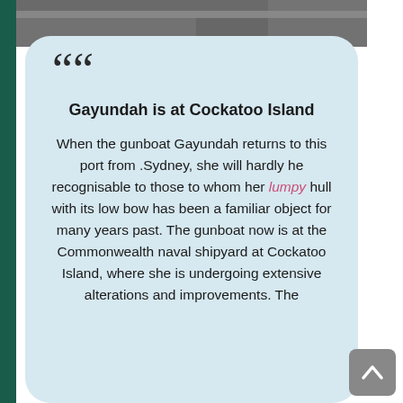[Figure (photo): Partial black and white photograph strip at the top of the page]
““
Gayundah is at Cockatoo Island
When the gunboat Gayundah returns to this port from .Sydney, she will hardly he recognisable to those to whom her lumpy hull with its low bow has been a familiar object for many years past. The gunboat now is at the Commonwealth naval shipyard at Cockatoo Island, where she is undergoing extensive alterations and improvements. The